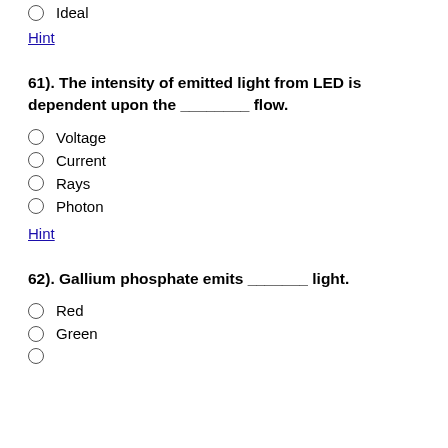Ideal
Hint
61). The intensity of emitted light from LED is dependent upon the ________ flow.
Voltage
Current
Rays
Photon
Hint
62). Gallium phosphate emits _______ light.
Red
Green